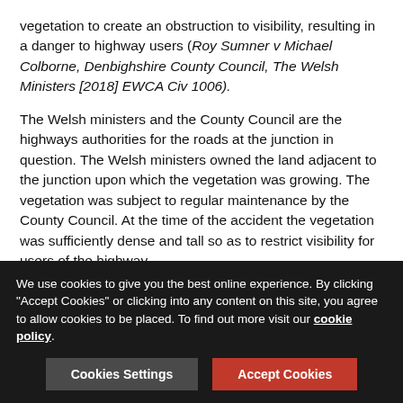vegetation to create an obstruction to visibility, resulting in a danger to highway users (Roy Sumner v Michael Colborne, Denbighshire County Council, The Welsh Ministers [2018] EWCA Civ 1006).
The Welsh ministers and the County Council are the highways authorities for the roads at the junction in question. The Welsh ministers owned the land adjacent to the junction upon which the vegetation was growing. The vegetation was subject to regular maintenance by the County Council. At the time of the accident the vegetation was sufficiently dense and tall so as to restrict visibility for users of the highway.
General maintenance duties of highway authorities
A highway authority is under a statutory duty to maintain the highways maintainable at the public expense for which is it responsible. This duty is owed to all users of a highway and...
We use cookies to give you the best online experience. By clicking "Accept Cookies" or clicking into any content on this site, you agree to allow cookies to be placed. To find out more visit our cookie policy.